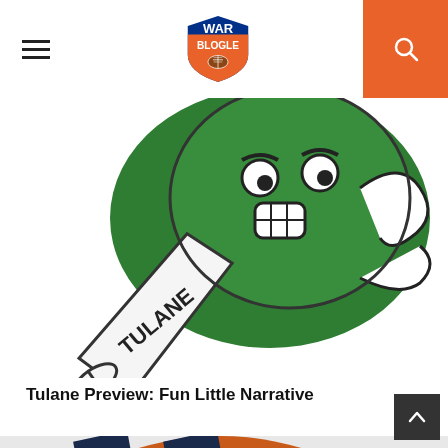War Blogle — navigation header with menu, logo, and search
[Figure (illustration): Tulane Green Wave mascot illustration — green wave character holding a megaphone/pennant with TULANE written on it]
Tulane Preview: Fun Little Narrative
[Figure (illustration): Close-up of a basketball or circular logo with orange and navy blue colors, partially showing 'War Blo...' text at bottom right]